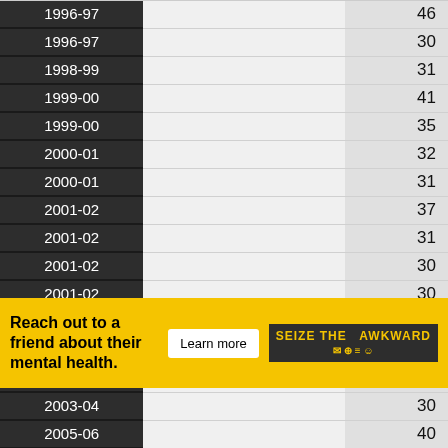| Year |  | Value |
| --- | --- | --- |
| 1996-97 |  | 46 |
| 1996-97 |  | 30 |
| 1998-99 |  | 31 |
| 1999-00 |  | 41 |
| 1999-00 |  | 35 |
| 2000-01 |  | 32 |
| 2000-01 |  | 31 |
| 2001-02 |  | 37 |
| 2001-02 |  | 31 |
| 2001-02 |  | 30 |
| 2001-02 |  | 30 |
| 2002-03 |  | 37 |
| 2002-03 |  | 36 |
| 2002-03 |  | 30 |
| 2003-04 |  | 30 |
| 2005-06 |  | 40 |
| 20??-?? |  | ?9 |
| 20??-?? |  | ?3 |
| 20??-?? |  | ? |